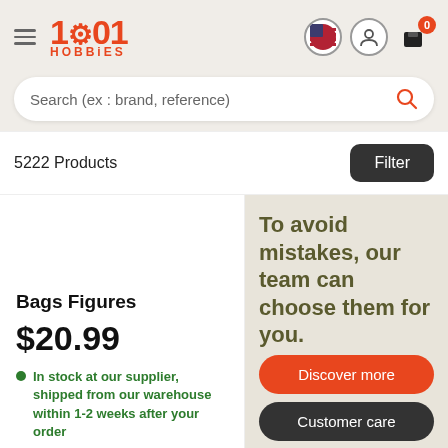[Figure (logo): 1001 Hobbies logo with hamburger menu, flag icon, user icon, and cart icon with badge 0]
Search (ex : brand, reference)
5222 Products
Filter
Bags Figures
$20.99
In stock at our supplier, shipped from our warehouse within 1-2 weeks after your order
To avoid mistakes, our team can choose them for you.
Discover more
Customer care